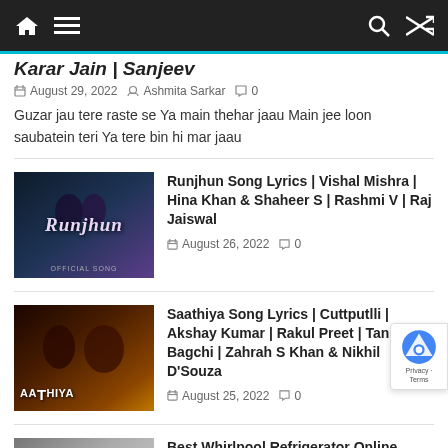Navigation bar with home, menu, search, and shuffle icons
Karar Jain | Sanjeev
August 29, 2022 · Ashmita Sarkar · 0 comments
Guzar jau tere raste se Ya main thehar jaau Main jee loon saubatein teri Ya tere bin hi mar jaau
[Figure (photo): Thumbnail image for Runjhun song showing a romantic couple scene with film poster style text]
Runjhun Song Lyrics | Vishal Mishra | Hina Khan & Shaheer S | Rashmi V | Raj Jaiswal
August 26, 2022 · 0 comments
[Figure (photo): Thumbnail image for Saathiya song showing Akshay Kumar and Rakul Preet with AATHIYA text overlay]
Saathiya Song Lyrics | Cuttputlli | Akshay Kumar | Rakul Preet | Tanishk Bagchi | Zahrah S Khan & Nikhil D'Souza
August 25, 2022 · 0 comments
[Figure (photo): Thumbnail image for Best Whirlpool Refrigerator Online article]
Best Whirlpool Refrigerator Online